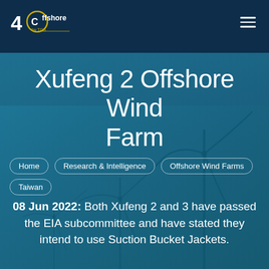4C Offshore by TGS — navigation header with hamburger menu
Xufeng 2 Offshore Wind Farm
Home
Research & Intelligence
Offshore Wind Farms
Taiwan
08 Jun 2022: Both Xufeng 2 and 3 have passed the EIA subcommittee and have stated they intend to use Suction Bucket Jackets.